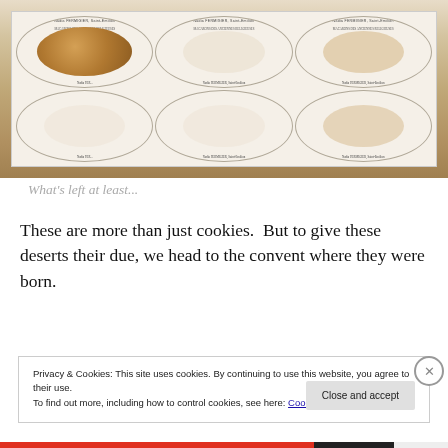[Figure (photo): A box of French macarons/cookies labeled 'Nadia FERMIGIER, Saint-Emilion' and 'Macarons des Anciennes Religieuses', with one dark golden-brown cookie visible and outlines of eaten cookies in the other slots]
What's left at least...
These are more than just cookies.  But to give these deserts their due, we head to the convent where they were born.
Privacy & Cookies: This site uses cookies. By continuing to use this website, you agree to their use.
To find out more, including how to control cookies, see here: Cookie Policy
Close and accept